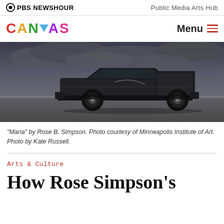PBS NEWSHOUR — Public Media Arts Hub
[Figure (logo): CANVAS logo in multicolor letters with navigation menu button]
[Figure (photo): Dark metallic custom El Camino-style vehicle photographed on a road against a stormy sky. 'Maria' by Rose B. Simpson.]
"Maria" by Rose B. Simpson. Photo courtesy of Minneapolis Institute of Art. Photo by Kate Russell.
Arts & Culture
How Rose Simpson's